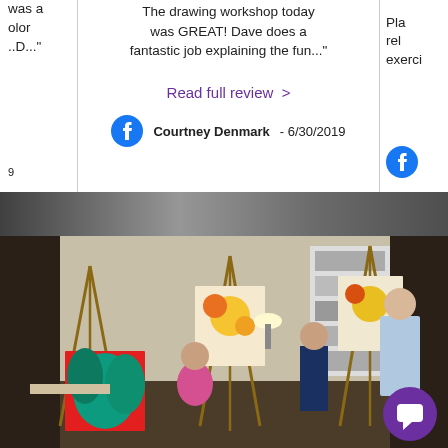was a color ..D..."
The drawing workshop today was GREAT! Dave does a fantastic job explaining the fun..."
Read full review >
Courtney Denmark - 6/30/2019
Pla rel exerci
[Figure (photo): Art class with multiple people painting on easels in a cozy indoor studio. Several canvases with colorful floral and tropical-themed paintings are visible on easels. An instructor appears to be helping students. A chat button overlay is visible in the bottom right corner.]